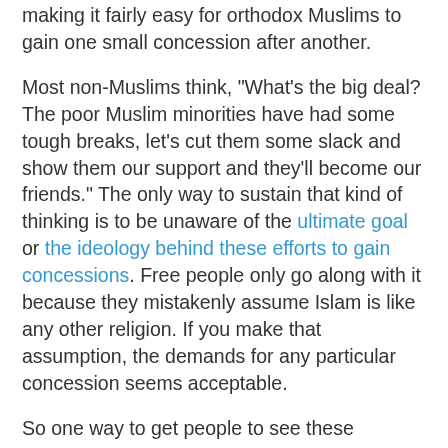making it fairly easy for orthodox Muslims to gain one small concession after another.
Most non-Muslims think, "What's the big deal? The poor Muslim minorities have had some tough breaks, let's cut them some slack and show them our support and they'll become our friends." The only way to sustain that kind of thinking is to be unaware of the ultimate goal or the ideology behind these efforts to gain concessions. Free people only go along with it because they mistakenly assume Islam is like any other religion. If you make that assumption, the demands for any particular concession seems acceptable.
So one way to get people to see these